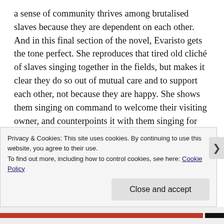a sense of community thrives among brutalised slaves because they are dependent on each other. And in this final section of the novel, Evaristo gets the tone perfect. She reproduces that tired old cliché of slaves singing together in the fields, but makes it clear they do so out of mutual care and to support each other, not because they are happy. She shows them singing on command to welcome their visiting owner, and counterpoints it with them singing for themselves. And she includes the eleven-year-old slave Dingiswayo, 'strutt[ing] about the quarter in a pair of outsized, hand-me-down cotton pants worn
Privacy & Cookies: This site uses cookies. By continuing to use this website, you agree to their use.
To find out more, including how to control cookies, see here: Cookie Policy
Close and accept